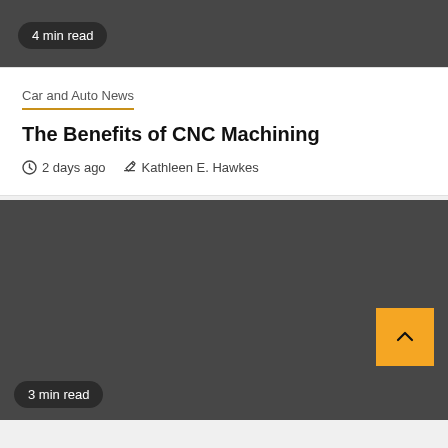4 min read
Car and Auto News
The Benefits of CNC Machining
2 days ago  Kathleen E. Hawkes
[Figure (photo): Dark gray placeholder image area for article]
3 min read